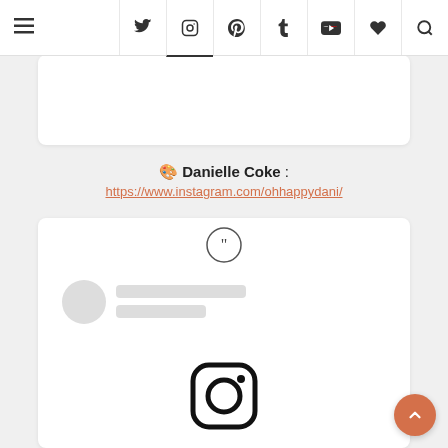Navigation bar with hamburger menu and social media icons: Twitter, Instagram, Pinterest, Tumblr, YouTube, Favorites, Search
[Figure (screenshot): Partial white card element at top, showing bottom portion of a previous content card]
🎨 Danielle Coke :
https://www.instagram.com/ohhappydani/
[Figure (screenshot): Instagram embed card with quote icon at top, skeleton loading avatar and text lines, and Instagram logo icon at bottom center]
[Figure (other): Back-to-top button, orange circle with upward chevron arrow, bottom right corner]